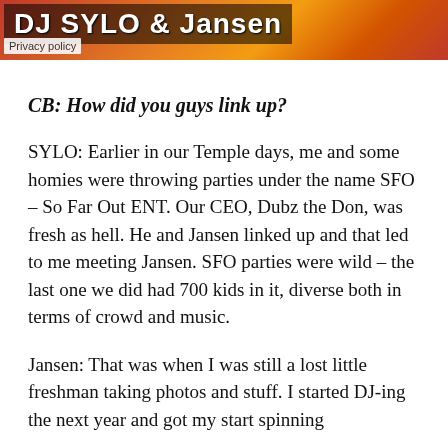[Figure (photo): Banner image showing DJ SYLO & Jansen text overlay on a colorful background with a Privacy policy label in the bottom-left corner]
CB: How did you guys link up?
SYLO: Earlier in our Temple days, me and some homies were throwing parties under the name SFO – So Far Out ENT. Our CEO, Dubz the Don, was fresh as hell. He and Jansen linked up and that led to me meeting Jansen. SFO parties were wild – the last one we did had 700 kids in it, diverse both in terms of crowd and music.
Jansen: That was when I was still a lost little freshman taking photos and stuff. I started DJ-ing the next year and got my start spinning